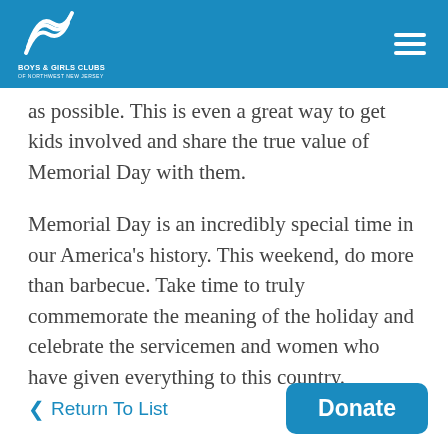Boys & Girls Clubs of Northwest New Jersey
as possible. This is even a great way to get kids involved and share the true value of Memorial Day with them.
Memorial Day is an incredibly special time in our America's history. This weekend, do more than barbecue. Take time to truly commemorate the meaning of the holiday and celebrate the servicemen and women who have given everything to this country.
< Return To List
Donate